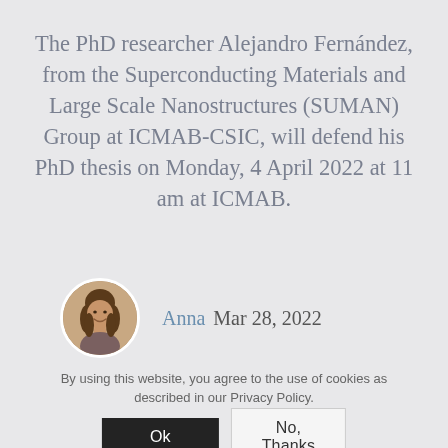The PhD researcher Alejandro Fernández, from the Superconducting Materials and Large Scale Nanostructures (SUMAN) Group at ICMAB-CSIC, will defend his PhD thesis on Monday, 4 April 2022 at 11 am at ICMAB.
[Figure (photo): Circular avatar photo of a woman named Anna, shown from shoulders up, smiling, with dark hair.]
Anna  Mar 28, 2022
By using this website, you agree to the use of cookies as described in our Privacy Policy.